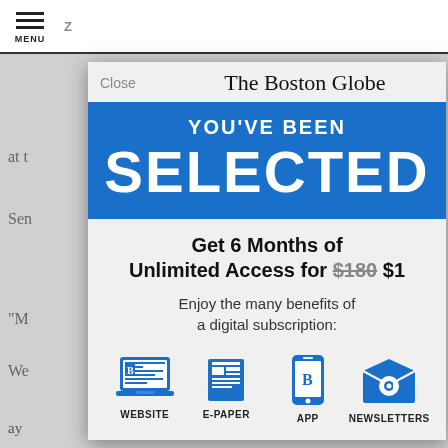[Figure (screenshot): Screenshot of a Boston Globe website subscription modal overlay. Background shows partially visible article text. A white top bar has a hamburger MENU icon. The modal shows 'Close' and 'The Boston Globe' header, a blue banner reading 'YOU'VE BEEN SELECTED', offer text 'Get 6 Months of Unlimited Access for $180 $1', 'Enjoy the many benefits of a digital subscription:', and four icons labeled WEBSITE, E-PAPER, APP, NEWSLETTERS.]